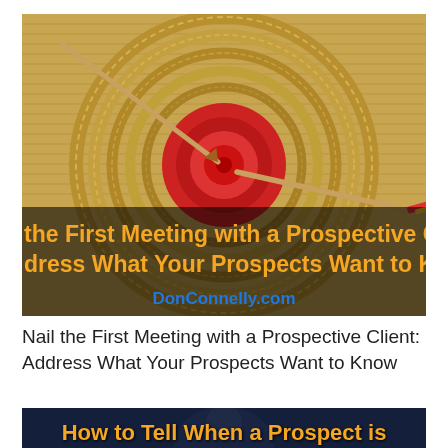[Figure (photo): Archery target with arrows hitting the bullseye (red center), made of straw/reeds. Overlaid text reads: 'the First Meeting with a Prospective Cl' and 'dress What Your Prospects Want to Kn' in bold orange, and 'DonConnelly.com' in blue.]
Nail the First Meeting with a Prospective Client: Address What Your Prospects Want to Know
[Figure (photo): Dark blue background with a person partially visible. Overlaid bold orange text: 'How to Tell When a Prospect is' and partially visible second line 'Ready to Become a Clien...']